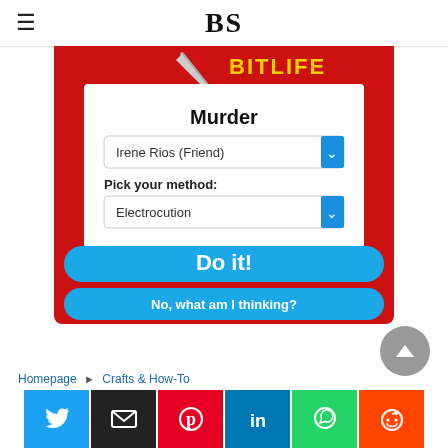BS
[Figure (screenshot): BitLife game screenshot showing a Murder interface with a dropdown for 'Irene Rios (Friend)', a 'Pick your method:' dropdown set to 'Electrocution', a blue 'Do it!' button, and a 'No, what am I thinking?' button on a red background.]
Homepage → Crafts & How-To
[Figure (other): Social share buttons: Twitter (blue), Email (black), Pinterest (red), LinkedIn (blue), WhatsApp (green), Reddit (orange)]